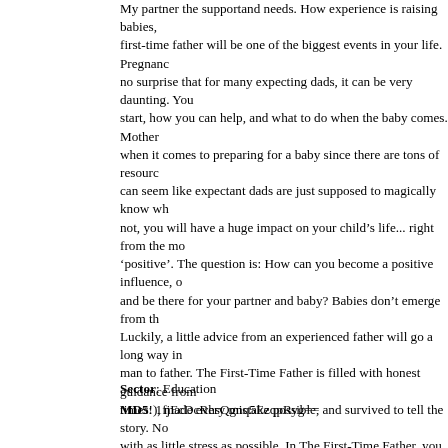My partner the supportand needs. How experience is raising babies, first-time father will be one of the biggest events in your life. Pregnancy no surprise that for many expecting dads, it can be very daunting. You start, how you can help, and what to do when the baby comes. Mother when it comes to preparing for a baby since there are tons of resource can seem like expectant dads are just supposed to magically know whe not, you will have a huge impact on your child's life... right from the mo 'positive'. The question is: How can you become a positive influence, o and be there for your partner and baby? Babies don't emerge from th Luckily, a little advice from an experienced father will go a long way in man to father. The First-Time Father is filled with honest guidance from times!), made every mistake possible, and survived to tell the story. No with as little stress as possible. In The First-Time Father, you will discov navigate you during stages of pregnancy, labor and delivery, and com Practical tools you need to prepare for fatherhood and guide you thro post-delivery ? Clear directions for raising a newborn and cultivating a your baby grows -- with age-appropriate games and discipline technic pregnancy phases so that you know what to do every step of the way pregnancy -- what to eat, how to behave, and when to go to the docto baby items you actually need, diaper changing mastery, and night-time instructions to prepare yourself mentally, physically, and emotionally f completely natural for new dads to have a ton of questions when it co interactive handbook takes the time to answer the questions no one e stress, or worries. Know exactly what your partner needs from you du to be part of the whole process, and be prepared for the unexpected
Sector: Education
MD5: 1fjEcDcRhsQgnq5EzqpRyg==